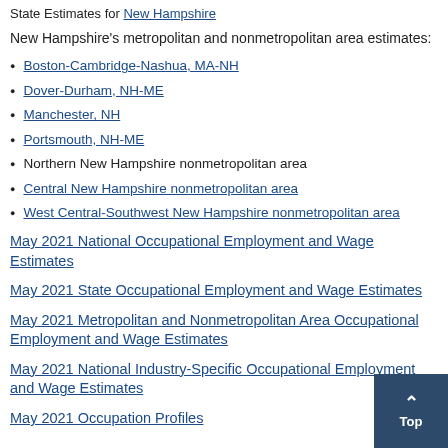State Estimates for New Hampshire
New Hampshire's metropolitan and nonmetropolitan area estimates:
Boston-Cambridge-Nashua, MA-NH
Dover-Durham, NH-ME
Manchester, NH
Portsmouth, NH-ME
Northern New Hampshire nonmetropolitan area
Central New Hampshire nonmetropolitan area
West Central-Southwest New Hampshire nonmetropolitan area
May 2021 National Occupational Employment and Wage Estimates
May 2021 State Occupational Employment and Wage Estimates
May 2021 Metropolitan and Nonmetropolitan Area Occupational Employment and Wage Estimates
May 2021 National Industry-Specific Occupational Employment and Wage Estimates
May 2021 Occupation Profiles